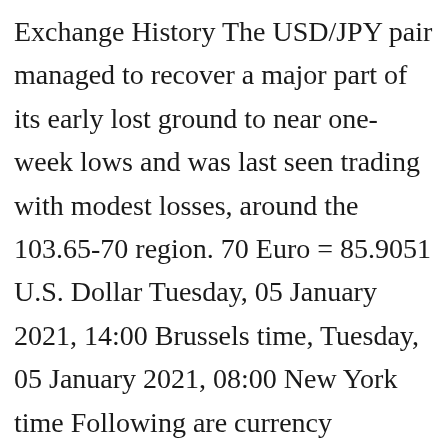Exchange History The USD/JPY pair managed to recover a major part of its early lost ground to near one-week lows and was last seen trading with modest losses, around the 103.65-70 region. 70 Euro = 85.9051 U.S. Dollar Tuesday, 05 January 2021, 14:00 Brussels time, Tuesday, 05 January 2021, 08:00 New York time Following are currency exchange calculator and the details of exchange rates between Euro (EUR) and U.S. Dollar (USD). 70.45 Canadian Dollar in United States Dollar with today exchange rate. The page provides the exchange rate of 70 Euro (EUR) to